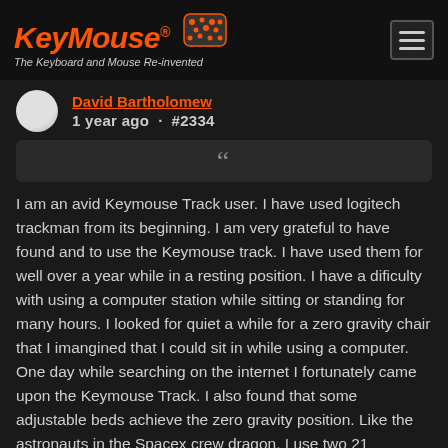KeyMouse® The Keyboard and Mouse Re-invented
David Bartholomew
1 year ago · #2334
““
I am an avid Keymouse Track user. I have used logitech trackman from its beginning. I am very grateful to have found and to use the Keymouse track. I have used them for well over a year while in a resting position. I have a dificulty with using a computer station while sitting or standing for many hours. I looked for quiet a while for a zero gravity chair that I imangined that I could sit in while using a computer. One day while searching on the internet I fortunately came upon the Keymouse Track. I also found that some adjustable beds achieve the zero gravity position. Like the astronauts in the Spacex crew dragon. I use two 21